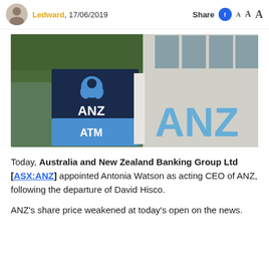Ledward, 17/06/2019
[Figure (photo): ANZ bank ATM sign and large blue ANZ letters on a building exterior]
Today, Australia and New Zealand Banking Group Ltd [ASX:ANZ] appointed Antonia Watson as acting CEO of ANZ, following the departure of David Hisco.
ANZ's share price weakened at today's open on the news.